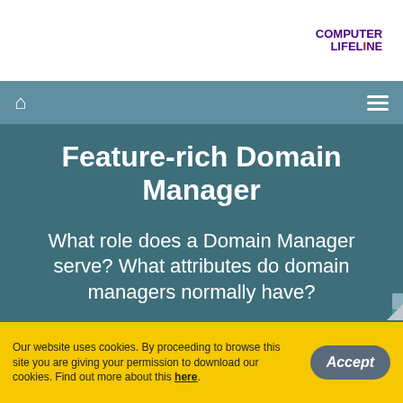[Figure (logo): Computer Lifeline logo with purple text and red wave accent]
Navigation bar with home icon and hamburger menu
Feature-rich Domain Manager
What role does a Domain Manager serve? What attributes do domain managers normally have?
Our website uses cookies. By proceeding to browse this site you are giving your permission to download our cookies. Find out more about this here.
Accept